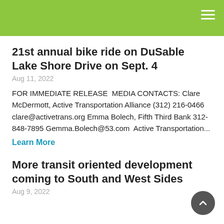21st annual bike ride on DuSable Lake Shore Drive on Sept. 4
Aug 11, 2022
FOR IMMEDIATE RELEASE  MEDIA CONTACTS: Clare McDermott, Active Transportation Alliance (312) 216-0466 clare@activetrans.org Emma Bolech, Fifth Third Bank 312-848-7895 Gemma.Bolech@53.com  Active Transportation...
Learn More
More transit oriented development coming to South and West Sides
Aug 9, 2022